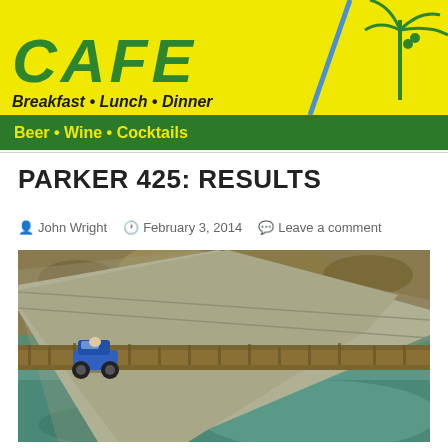[Figure (logo): Cafe banner with yellow background, green text showing CAFE in large letters, Breakfast • Lunch • Dinner in italic black, Beer • Wine • Cocktails in yellow on green bar, with blue diagonal line and palm tree graphic on right]
PARKER 425: RESULTS
John Wright   February 3, 2014   Leave a comment
[Figure (photo): Aerial photograph of an off-road race vehicle (blue buggy) driving on a narrow paved road next to a teal/green river, with desert scrub vegetation on the hillside above]